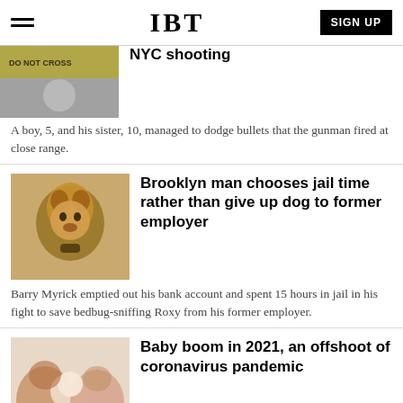IBT
NYC shooting
A boy, 5, and his sister, 10, managed to dodge bullets that the gunman fired at close range.
Brooklyn man chooses jail time rather than give up dog to former employer
Barry Myrick emptied out his bank account and spent 15 hours in jail in his fight to save bedbug-sniffing Roxy from his former employer.
Baby boom in 2021, an offshoot of coronavirus pandemic
A number of doctors in New York say that many women started to resume fertility treatments that were put on hold at the start of the pandemic.